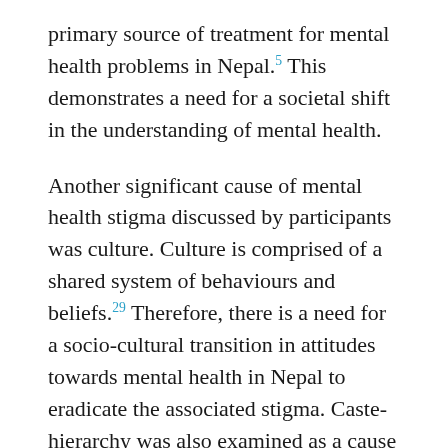primary source of treatment for mental health problems in Nepal. 5 This demonstrates a need for a societal shift in the understanding of mental health.
Another significant cause of mental health stigma discussed by participants was culture. Culture is comprised of a shared system of behaviours and beliefs. 29 Therefore, there is a need for a socio-cultural transition in attitudes towards mental health in Nepal to eradicate the associated stigma. Caste-hierarchy was also examined as a cause of mental health stigma, as depicted in Figure 6. This finding corroborates research by Kohrt and Harper who concluded that the